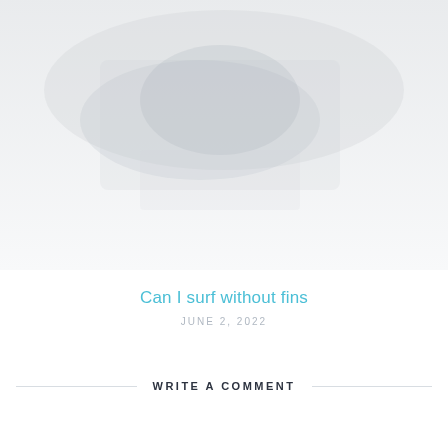[Figure (photo): Faded/washed-out background photo of a surfer or surfing scene, very light and barely visible, occupying the upper portion of the page]
Can I surf without fins
JUNE 2, 2022
WRITE A COMMENT